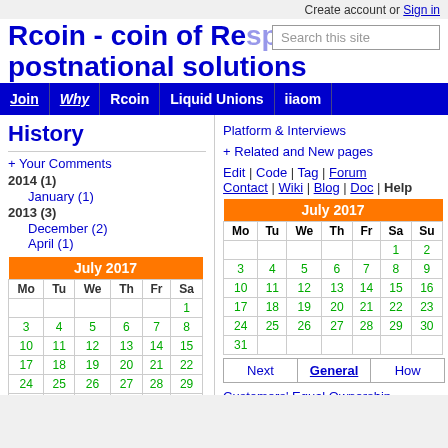Create account or Sign in
Rcoin - coin of Respect! © postnational solutions
Search this site
Join | Why | Rcoin | Liquid Unions | iiaom
History
+ Your Comments
2014 (1)
January (1)
2013 (3)
December (2)
April (1)
| July 2017 |  |  |  |  |  |  |
| --- | --- | --- | --- | --- | --- | --- |
| Mo | Tu | We | Th | Fr | Sa |  |
|  |  |  |  |  | 1 | 2 |
| 3 | 4 | 5 | 6 | 7 | 8 | 9 |
| 10 | 11 | 12 | 13 | 14 | 15 | 16 |
| 17 | 18 | 19 | 20 | 21 | 22 | 23 |
| 24 | 25 | 26 | 27 | 28 | 29 | 30 |
| 31 |  |  |  |  |  |  |
Next | General | How
Platform & Interviews
+ Related and New pages
Edit | Code | Tag | Forum Contact | Wiki | Blog | Doc | Help
| July 2017 |  |  |  |  |  |  |
| --- | --- | --- | --- | --- | --- | --- |
| Mo | Tu | We | Th | Fr | Sa | Su |
|  |  |  |  |  | 1 | 2 |
| 3 | 4 | 5 | 6 | 7 | 8 | 9 |
| 10 | 11 | 12 | 13 | 14 | 15 | 16 |
| 17 | 18 | 19 | 20 | 21 | 22 | 23 |
| 24 | 25 | 26 | 27 | 28 | 29 | 30 |
| 31 |  |  |  |  |  |  |
Next | General | How
Customers' Equal Ownership
» Terms & Reasons